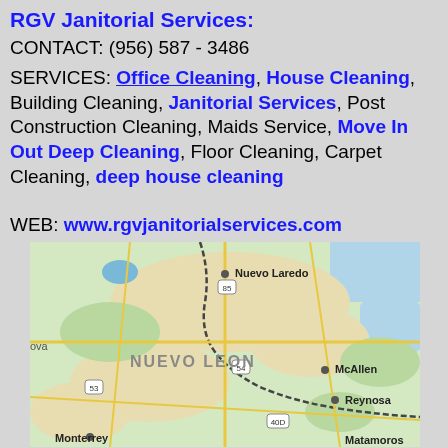RGV Janitorial Services:
CONTACT: (956) 587 - 3486
SERVICES: Office Cleaning, House Cleaning, Building Cleaning, Janitorial Services, Post Construction Cleaning, Maids Service, Move In Out Deep Cleaning, Floor Cleaning, Carpet Cleaning, deep house cleaning
WEB: www.rgvjanitorialservices.com
[Figure (map): Google Maps view showing the Texas-Mexico border region including Nuevo Laredo, NUEVO LEON, McAllen, Reynosa, Monterrey, and Matamoros. Road network with highways 85, 54, 53, 40D visible.]